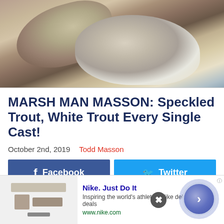[Figure (photo): Close-up photo of speckled trout and white trout fish laid out together]
MARSH MAN MASSON: Speckled Trout, White Trout Every Single Cast!
October 2nd, 2019    Todd Masson
Facebook  Twitter
So rather than continue to wait for the fish to
[Figure (infographic): Nike advertisement: Nike. Just Do It. Inspiring the world's athletes, Nike delivers the deals. www.nike.com]